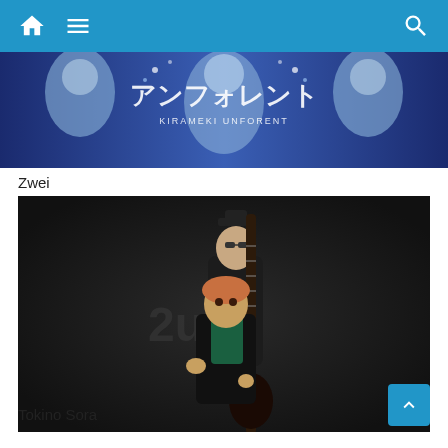Navigation bar with home, menu, and search icons
[Figure (photo): Banner image showing anime-style characters in blue dresses with Japanese text and 'KIRAMEKI UNFORENT' subtitle]
Zwei
[Figure (photo): Photo of the Japanese music duo 'Zwei' – two women in rock styling, one holding a guitar, with 'Zwei' logo visible in the background]
Tokino Sora